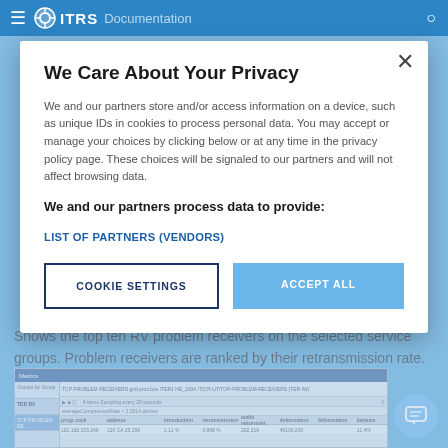ITRS Documentation
We Care About Your Privacy
We and our partners store and/or access information on a device, such as unique IDs in cookies to process personal data. You may accept or manage your choices by clicking below or at any time in the privacy policy page. These choices will be signaled to our partners and will not affect browsing data.
We and our partners process data to provide:
LIST OF PARTNERS (VENDORS)
COOKIE SETTINGS
ACCEPT ALL
Shows the top ten RV problem receivers on the selected service groups. Problem receivers are ranked by their retransmission rate.
[Figure (screenshot): Screenshot of ITRS software showing TOP PROBLEM RECEIVERS panel with a data table listing receiver addresses, introduction, retransmission, audio retransmit, deformation, bitformation, balance columns with sample data rows.]